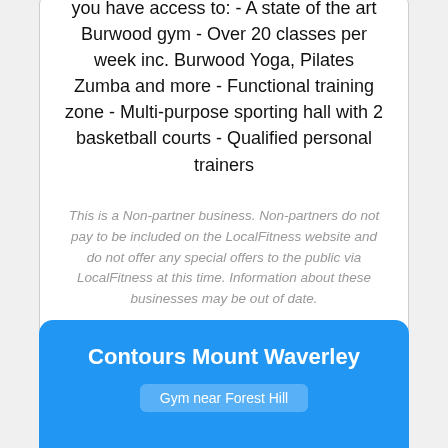you have access to: - A state of the art Burwood gym - Over 20 classes per week inc. Burwood Yoga, Pilates Zumba and more - Functional training zone - Multi-purpose sporting hall with 2 basketball courts - Qualified personal trainers
This is a Non-partner business. Non-partners do not pay to be included on the LocalFitness website and do not offer any special offers to the public via LocalFitness at this time. Information about these businesses may be out of date.
Contours Mount Waverley
Gym near Forest Hill